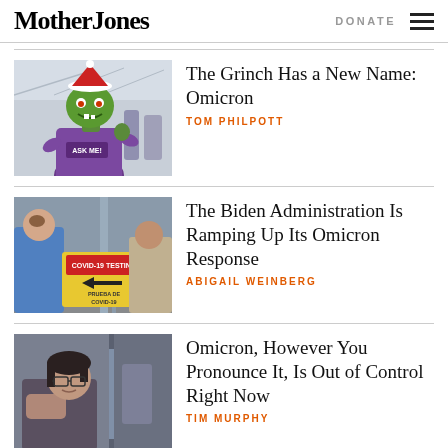Mother Jones | DONATE
[Figure (photo): Person wearing a green Grinch mask and Santa hat, dressed in a purple shirt with 'ASK ME!' text, standing in what appears to an airport terminal]
The Grinch Has a New Name: Omicron
TOM PHILPOTT
[Figure (photo): People at a COVID-19 testing site with a yellow sign reading 'COVID-19 TESTING' and 'PRUEBA DE COVID-19' with an arrow]
The Biden Administration Is Ramping Up Its Omicron Response
ABIGAIL WEINBERG
[Figure (photo): Woman with glasses looking at something, partial view indoors]
Omicron, However You Pronounce It, Is Out of Control Right Now
TIM MURPHY